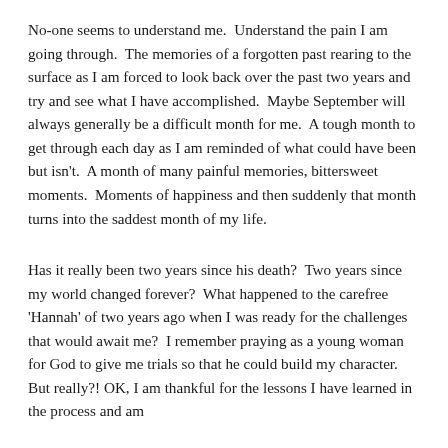No-one seems to understand me.  Understand the pain I am going through.  The memories of a forgotten past rearing to the surface as I am forced to look back over the past two years and try and see what I have accomplished.  Maybe September will always generally be a difficult month for me.  A tough month to get through each day as I am reminded of what could have been but isn't.  A month of many painful memories, bittersweet moments.  Moments of happiness and then suddenly that month turns into the saddest month of my life.
Has it really been two years since his death?  Two years since my world changed forever?  What happened to the carefree 'Hannah' of two years ago when I was ready for the challenges that would await me?  I remember praying as a young woman for God to give me trials so that he could build my character.  But really?! OK, I am thankful for the lessons I have learned in the process and am